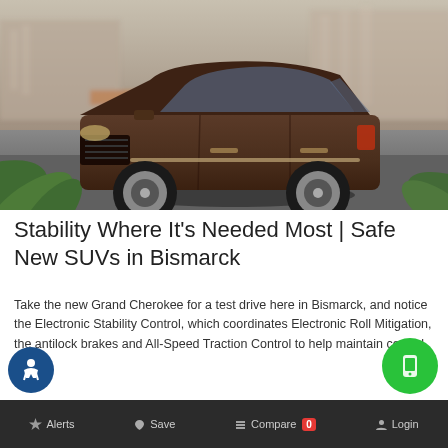[Figure (photo): Brown Jeep Grand Cherokee SUV driving on a road, motion-blurred background with buildings and palm trees]
Stability Where It's Needed Most | Safe New SUVs in Bismarck
Take the new Grand Cherokee for a test drive here in Bismarck, and notice the Electronic Stability Control, which coordinates Electronic Roll Mitigation, the antilock brakes and All-Speed Traction Control to help maintain control.
Alerts  Save  Compare 0  Login